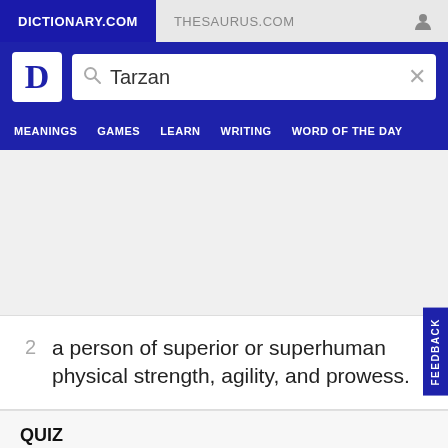DICTIONARY.COM
THESAURUS.COM
Tarzan
MEANINGS   GAMES   LEARN   WRITING   WORD OF THE DAY
2  a person of superior or superhuman physical strength, agility, and prowess.
QUIZ